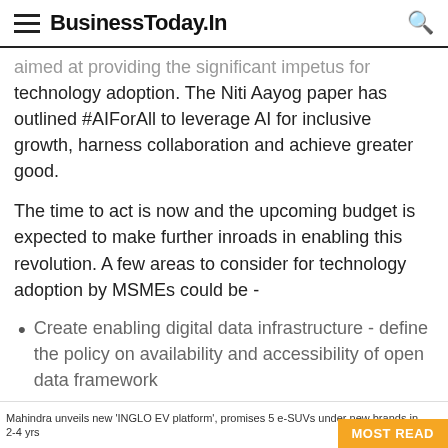BusinessToday.In
aimed at providing the significant impetus for technology adoption. The Niti Aayog paper has outlined #AIForAll to leverage AI for inclusive growth, harness collaboration and achieve greater good.
The time to act is now and the upcoming budget is expected to make further inroads in enabling this revolution. A few areas to consider for technology adoption by MSMEs could be -
Create enabling digital data infrastructure - define the policy on availability and accessibility of open data framework
Mahindra unveils new 'INGLO EV platform', promises 5 e-SUVs under new brands in 2-4 yrs
MOST READ